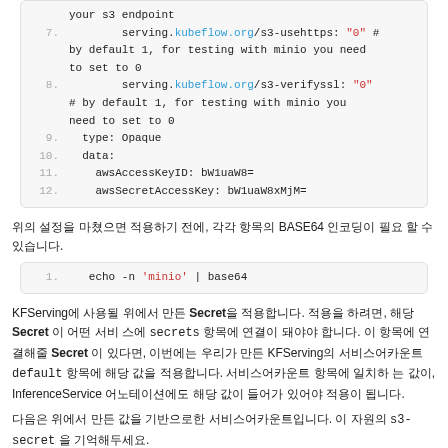[Figure (screenshot): Code block showing YAML configuration lines 7-12 with serving.kubeflow.org annotations and data fields]
위의 설정을 마쳤으면 적용하기 전에, 각각 항목의 BASE64 인코딩이 필요 할 수 있습니다.
[Figure (screenshot): Code block showing: echo -n 'minio' | base64]
KFServing에 사용될 위에서 만든 Secret을 적용합니다. 적용을 하려면, 해당 Secret 이 어떤 서비 스에 secrets 항목에 연결이 돼야야 합니다. 이 항목에 연결해줄 Secret 이 있다면, 이번에는 우리가 만든 KFServing의 서비스어카운트 default 항목에 해당 값을 적용합니다. 서비스어카운트 항목에 일치하 는 값이, InferenceService 어노테이션에도 해당 값이 들어가 있어야 적용이 됩니다.
다음은 위에서 만든 값을 기반으로한 서비스어카운트입니다. 이 자원의 s3-secret 을 기억해두세요.